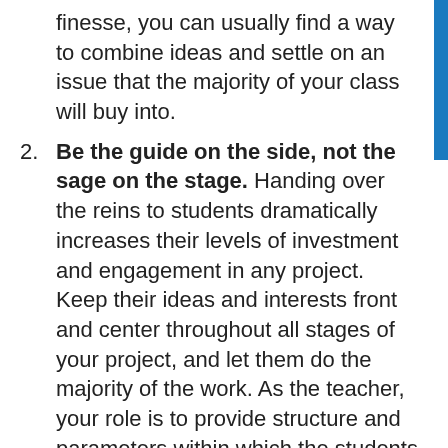finesse, you can usually find a way to combine ideas and settle on an issue that the majority of your class will buy into.
Be the guide on the side, not the sage on the stage. Handing over the reins to students dramatically increases their levels of investment and engagement in any project. Keep their ideas and interests front and center throughout all stages of your project, and let them do the majority of the work. As the teacher, your role is to provide structure and parameters within which the students can be creative and generative, and to help them refine their vision to something that is actually possible and doable.